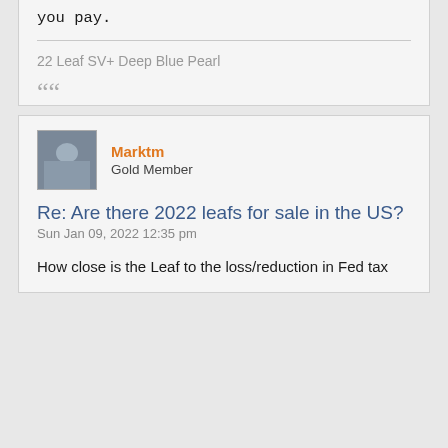you pay.
I was able to get a $2k plus discount off my new 22 Leaf without a ton of effort. Never left the house actually and dealer delivered. Of course this is on the east coast so ymmv.
22 Leaf SV+ Deep Blue Pearl
““
Marktm
Gold Member
Re: Are there 2022 leafs for sale in the US?
Sun Jan 09, 2022 12:35 pm
How close is the Leaf to the loss/reduction in Fed tax